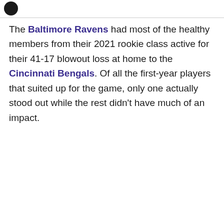The Baltimore Ravens had most of the healthy members from their 2021 rookie class active for their 41-17 blowout loss at home to the Cincinnati Bengals. Of all the first-year players that suited up for the game, only one actually stood out while the rest didn't have much of an impact.